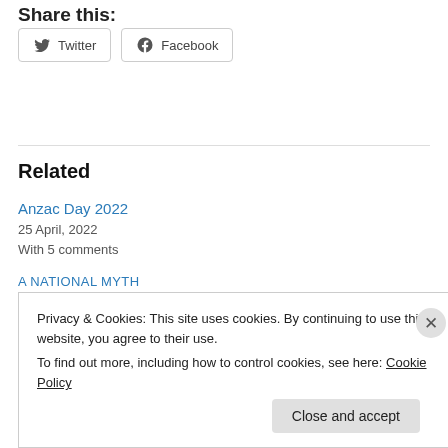Share this:
[Figure (other): Social share buttons for Twitter and Facebook]
Related
Anzac Day 2022
25 April, 2022
With 5 comments
A NATIONAL MYTH
Privacy & Cookies: This site uses cookies. By continuing to use this website, you agree to their use.
To find out more, including how to control cookies, see here: Cookie Policy
Close and accept